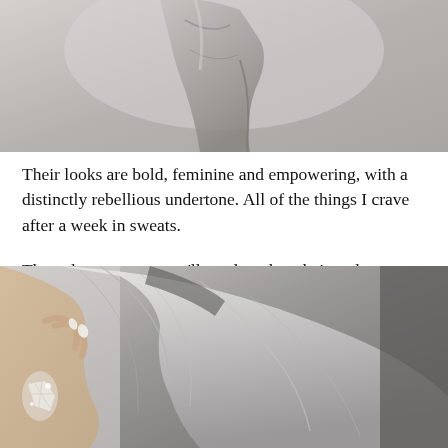[Figure (photo): Partial view of a model wearing a draped grey/taupe fabric garment, cropped to show torso and dress]
Their looks are bold, feminine and empowering, with a distinctly rebellious undertone. All of the things I crave after a week in sweats.
The only accessory you'll need, undone hair and even more, sparkling, embellishments. Ear candy compliments of Caprice Decadent. Their pieces are exorbitant and extravagant. The kind of ice you wear when you want to feel like money.
[Figure (photo): Close-up photo of a woman with platinum blonde hair wearing sparkly crystal earrings, her hand raised near her face with white nail polish]